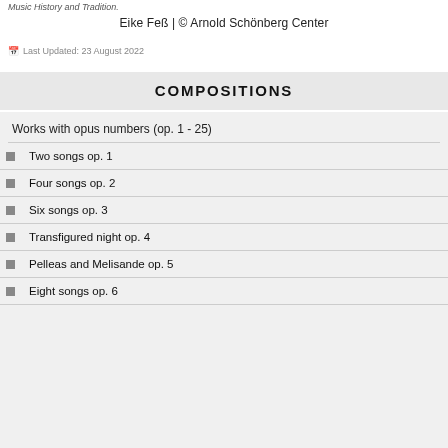Music History and Tradition.
Eike Feß | © Arnold Schönberg Center
Last Updated: 23 August 2022
COMPOSITIONS
Works with opus numbers (op. 1 - 25)
Two songs op. 1
Four songs op. 2
Six songs op. 3
Transfigured night op. 4
Pelleas and Melisande op. 5
Eight songs op. 6